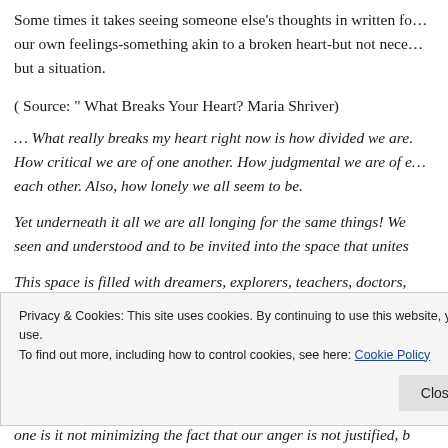Some times it takes seeing someone else's thoughts in written form to identify our own feelings-something akin to a broken heart-but not necessarily a person, but a situation.
( Source: “ What Breaks Your Heart? Maria Shriver)
… What really breaks my heart right now is how divided we are. How critical we are of one another. How judgmental we are of each other. Also, how lonely we all seem to be.
Yet underneath it all we are all longing for the same things! We seen and understood and to be invited into the space that unites
This space is filled with dreamers, explorers, teachers, doctors,
Privacy & Cookies: This site uses cookies. By continuing to use this website, you agree to their use.
To find out more, including how to control cookies, see here: Cookie Policy
Close and accept
one is not minimizing the fact that our anger is not justified, b